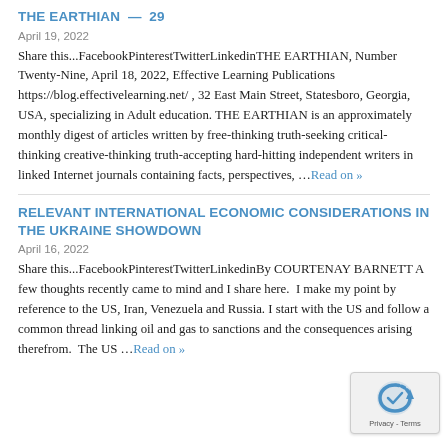THE EARTHIAN — 29
April 19, 2022
Share this...FacebookPinterestTwitterLinkedinTHE EARTHIAN, Number Twenty-Nine, April 18, 2022, Effective Learning Publications https://blog.effectivelearning.net/ , 32 East Main Street, Statesboro, Georgia, USA, specializing in Adult education. THE EARTHIAN is an approximately monthly digest of articles written by free-thinking truth-seeking critical-thinking creative-thinking truth-accepting hard-hitting independent writers in linked Internet journals containing facts, perspectives, ...Read on »
RELEVANT INTERNATIONAL ECONOMIC CONSIDERATIONS IN THE UKRAINE SHOWDOWN
April 16, 2022
Share this...FacebookPinterestTwitterLinkedinBy COURTENAY BARNETT A few thoughts recently came to mind and I share here.  I make my point by reference to the US, Iran, Venezuela and Russia. I start with the US and follow a common thread linking oil and gas to sanctions and the consequences arising therefrom.  The US ...Read on »